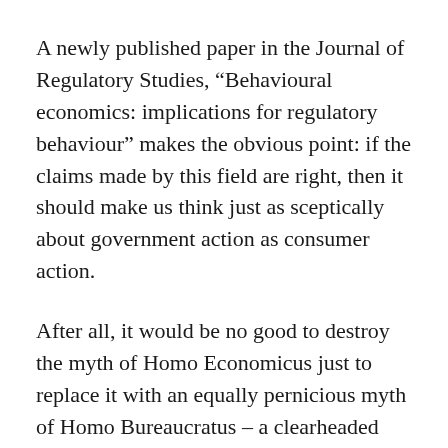A newly published paper in the Journal of Regulatory Studies, “Behavioural economics: implications for regulatory behaviour” makes the obvious point: if the claims made by this field are right, then it should make us think just as sceptically about government action as consumer action.
After all, it would be no good to destroy the myth of Homo Economicus just to replace it with an equally pernicious myth of Homo Bureaucratus – a clearheaded and efficient policy designer.
There is no reason to believe that someone